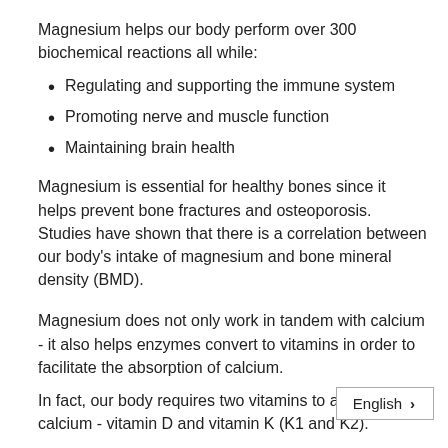Magnesium helps our body perform over 300 biochemical reactions all while:
Regulating and supporting the immune system
Promoting nerve and muscle function
Maintaining brain health
Magnesium is essential for healthy bones since it helps prevent bone fractures and osteoporosis. Studies have shown that there is a correlation between our body’s intake of magnesium and bone mineral density (BMD).
Magnesium does not only work in tandem with calcium - it also helps enzymes convert to vitamins in order to facilitate the absorption of calcium.
In fact, our body requires two vitamins to absorb calcium - vitamin D and vitamin K (K1 and K2).
Enzymes in our body need magnesium in order to
English ›